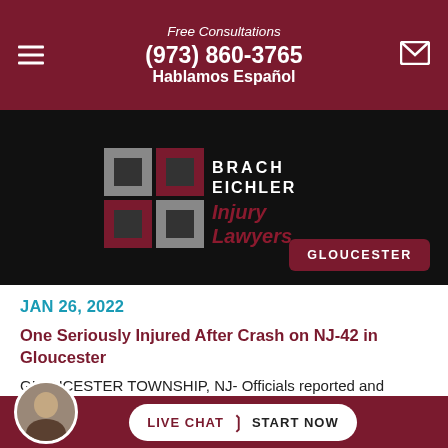Free Consultations
(973) 860-3765
Hablamos Español
[Figure (logo): Brach Eichler Injury Lawyers logo on black background with GLOUCESTER button]
JAN 26, 2022
One Seriously Injured After Crash on NJ-42 in Gloucester
GLOUCESTER TOWNSHIP, NJ- Officials reported and responded to a crash on the NJ-42 roadway in Gloucester Township early Wednesday, according to local
LIVE CHAT > START NOW